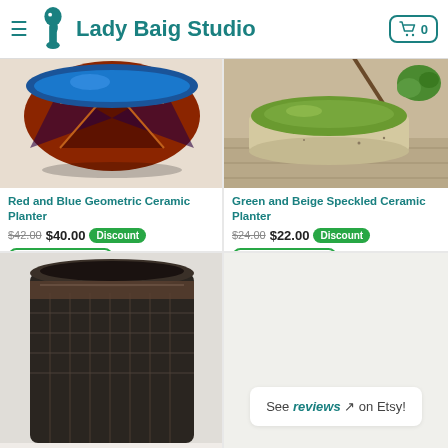Lady Baig Studio
[Figure (photo): Red and Blue Geometric Ceramic Planter - terracotta red with geometric star pattern and blue interior glaze]
Red and Blue Geometric Ceramic Planter
$42.00 $40.00 Discount Shipping Included ADD TO CART
[Figure (photo): Green and Beige Speckled Ceramic Planter - shallow bowl shape with speckled beige exterior and green interior, with succulent in background]
Green and Beige Speckled Ceramic Planter
$24.00 $22.00 Discount Shipping Included ADD TO CART
[Figure (photo): Dark ceramic planter with textured surface, partially visible in bottom left]
See reviews on Etsy!